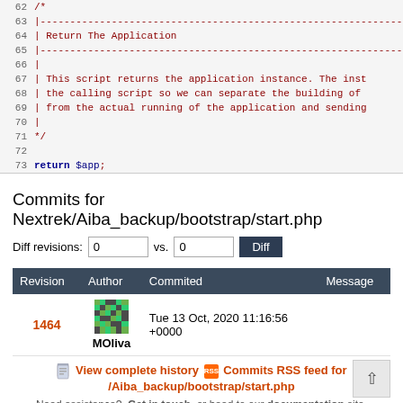[Figure (screenshot): Code editor showing PHP script lines 62-73 with line numbers, dark red comment block and blue 'return' keyword]
Commits for Nextrek/Aiba_backup/bootstrap/start.php
Diff revisions: 0 vs. 0 Diff
| Revision | Author | Commited | Message |
| --- | --- | --- | --- |
| 1464 | MOliva | Tue 13 Oct, 2020 11:16:56 +0000 |  |
View complete history  Commits RSS feed for /Aiba_backup/bootstrap/start.php
Need assistance?  Get in touch, or head to our documentation site.